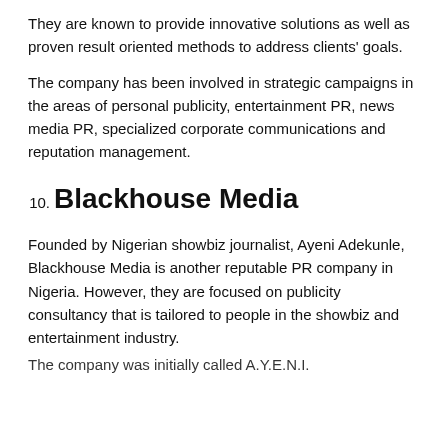They are known to provide innovative solutions as well as proven result oriented methods to address clients' goals.
The company has been involved in strategic campaigns in the areas of personal publicity, entertainment PR, news media PR, specialized corporate communications and reputation management.
10. Blackhouse Media
Founded by Nigerian showbiz journalist, Ayeni Adekunle, Blackhouse Media is another reputable PR company in Nigeria. However, they are focused on publicity consultancy that is tailored to people in the showbiz and entertainment industry.
The company was initially called A.Y.E.N.I.